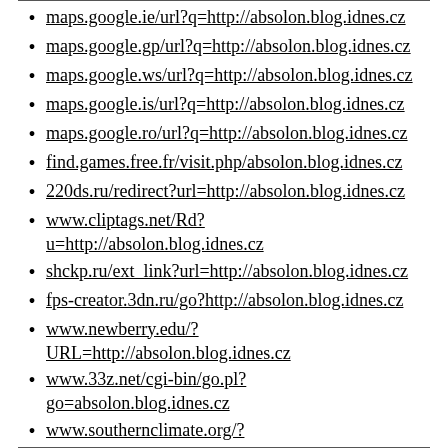maps.google.ie/url?q=http://absolon.blog.idnes.cz
maps.google.gp/url?q=http://absolon.blog.idnes.cz
maps.google.ws/url?q=http://absolon.blog.idnes.cz
maps.google.is/url?q=http://absolon.blog.idnes.cz
maps.google.ro/url?q=http://absolon.blog.idnes.cz
find.games.free.fr/visit.php/absolon.blog.idnes.cz
220ds.ru/redirect?url=http://absolon.blog.idnes.cz
www.cliptags.net/Rd?u=http://absolon.blog.idnes.cz
shckp.ru/ext_link?url=http://absolon.blog.idnes.cz
fps-creator.3dn.ru/go?http://absolon.blog.idnes.cz
www.newberry.edu/?URL=http://absolon.blog.idnes.cz
www.33z.net/cgi-bin/go.pl?go=absolon.blog.idnes.cz
www.southernclimate.org/?URL=absolon.blog.idnes.cz
www.ssnote.net/link?q=http://absolon.blog.idnes.cz